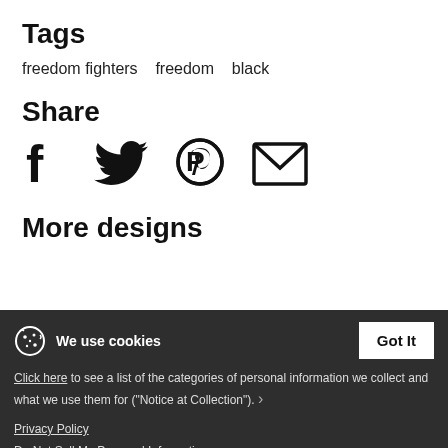Tags
freedom fighters   freedom   black
Share
[Figure (infographic): Social share icons: Facebook, Twitter, Pinterest, Email]
More designs
We use cookies
Click here to see a list of the categories of personal information we collect and what we use them for ("Notice at Collection").
Privacy Policy
Do Not Sell My Personal Information
By using this website, I agree to the Terms and Conditions